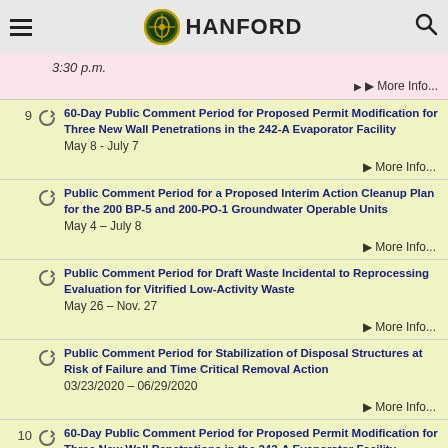HANFORD
3:30 p.m.
More Info...
9  60-Day Public Comment Period for Proposed Permit Modification for Three New Wall Penetrations in the 242-A Evaporator Facility
May 8 - July 7
More Info...
Public Comment Period for a Proposed Interim Action Cleanup Plan for the 200 BP-5 and 200-PO-1 Groundwater Operable Units
May 4 – July 8
More Info...
Public Comment Period for Draft Waste Incidental to Reprocessing Evaluation for Vitrified Low-Activity Waste
May 26 – Nov. 27
More Info...
Public Comment Period for Stabilization of Disposal Structures at Risk of Failure and Time Critical Removal Action
03/23/2020 – 06/29/2020
More Info...
10  60-Day Public Comment Period for Proposed Permit Modification for Three New Wall Penetrations in the 242-A Evaporator Facility
May 8 - July 7
More Info...